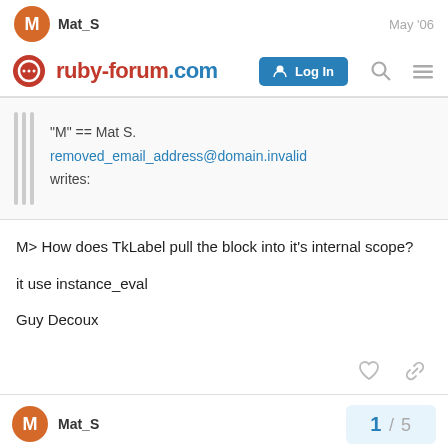Mat_S  May '06
ruby-forum.com  Log In
"M" == Mat S.
removed_email_address@domain.invalid
writes:
M> How does TkLabel pull the block into it's internal scope?
it use instance_eval
Guy Decoux
Mat_S  1 / 5